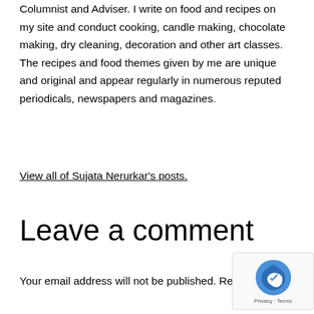Columnist and Adviser. I write on food and recipes on my site and conduct cooking, candle making, chocolate making, dry cleaning, decoration and other art classes. The recipes and food themes given by me are unique and original and appear regularly in numerous reputed periodicals, newspapers and magazines.
View all of Sujata Nerurkar's posts.
Leave a comment
Your email address will not be published. Required are marked *